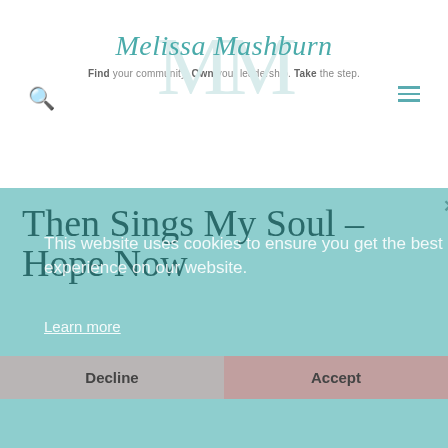[Figure (logo): Melissa Mashburn website header with MM watermark, script logo text, and tagline]
Then Sings My Soul - Hope Now
This website uses cookies to ensure you get the best experience on our website.
Learn more
CHRISTIAN, FAITH, FAMILY, FRIENDS, HOPE, MEL'S WORLD, MELISSA MASHBURN, PASTOR'S WIFE, PRAISE, PRAYERS, THEN SINGS MY SOUL, WOMEN'S MINISTRY, WORSHIP
Decline
Accept